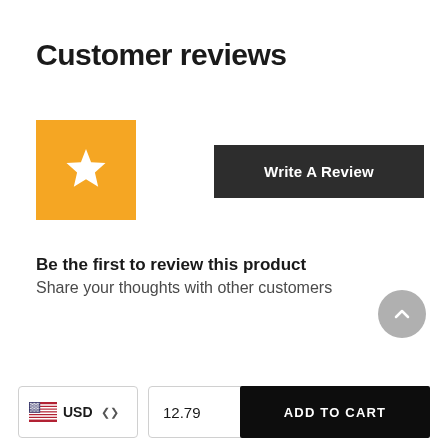Customer reviews
[Figure (illustration): Orange square box with a white star icon in the center]
Write A Review
Be the first to review this product
Share your thoughts with other customers
[Figure (illustration): Gray circular scroll-to-top button with upward chevron arrow]
[Figure (illustration): US flag icon with USD currency selector dropdown]
12.79
ADD TO CART